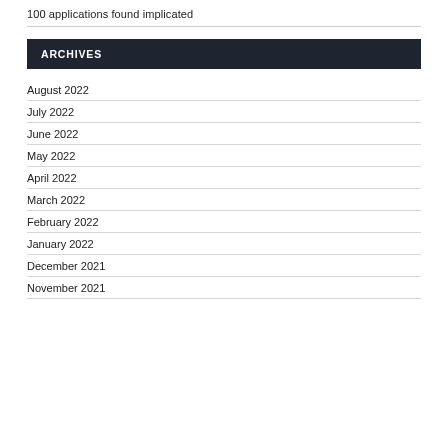100 applications found implicated
ARCHIVES
August 2022
July 2022
June 2022
May 2022
April 2022
March 2022
February 2022
January 2022
December 2021
November 2021